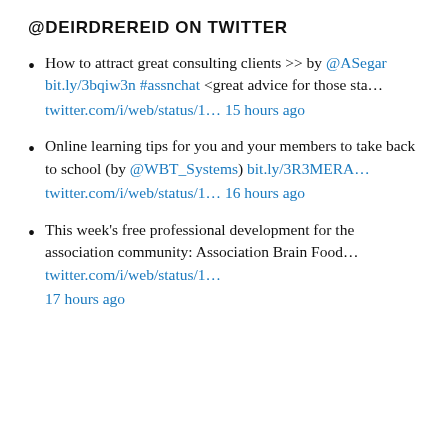@DEIRDREREID ON TWITTER
How to attract great consulting clients >> by @ASegar bit.ly/3bqiw3n #assnchat <great advice for those sta... twitter.com/i/web/status/1... 15 hours ago
Online learning tips for you and your members to take back to school (by @WBT_Systems) bit.ly/3R3MERA... twitter.com/i/web/status/1... 16 hours ago
This week's free professional development for the association community: Association Brain Food... twitter.com/i/web/status/1... 17 hours ago